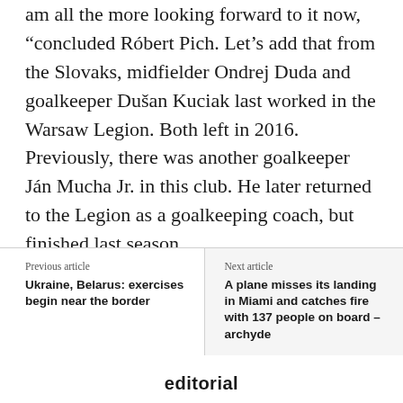am all the more looking forward to it now, “concluded Róbert Pich. Let’s add that from the Slovaks, midfielder Ondrej Duda and goalkeeper Dušan Kuciak last worked in the Warsaw Legion. Both left in 2016. Previously, there was another goalkeeper Ján Mucha Jr. in this club. He later returned to the Legion as a goalkeeping coach, but finished last season.
Previous article
Ukraine, Belarus: exercises begin near the border
Next article
A plane misses its landing in Miami and catches fire with 137 people on board – archyde
editorial